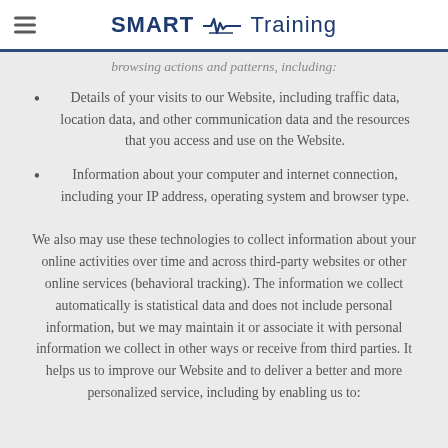SMART Training
browsing actions and patterns, including:
Details of your visits to our Website, including traffic data, location data, and other communication data and the resources that you access and use on the Website.
Information about your computer and internet connection, including your IP address, operating system and browser type.
We also may use these technologies to collect information about your online activities over time and across third-party websites or other online services (behavioral tracking). The information we collect automatically is statistical data and does not include personal information, but we may maintain it or associate it with personal information we collect in other ways or receive from third parties. It helps us to improve our Website and to deliver a better and more personalized service, including by enabling us to: